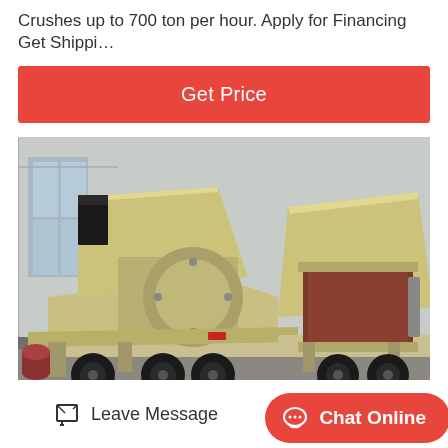Crushes up to 700 ton per hour. Apply for Financing Get Shippi…
Get Price
[Figure (photo): Large yellow mobile crushing machine / impact crusher on a trailer, parked in an industrial yard in front of a warehouse building. Two units visible side by side.]
Leave Message
Chat Online